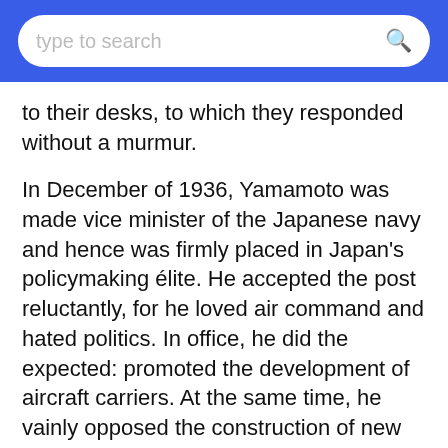type to search
to their desks, to which they responded without a murmur.
In December of 1936, Yamamoto was made vice minister of the Japanese navy and hence was firmly placed in Japan's policymaking élite. He accepted the post reluctantly, for he loved air command and hated politics. In office, he did the expected: promoted the development of aircraft carriers. At the same time, he vainly opposed the construction of new battleships, claiming that they could be sunk by torpedo planes. Yamamoto quoted an old Japanese proverb, "The fiercest serpent may be